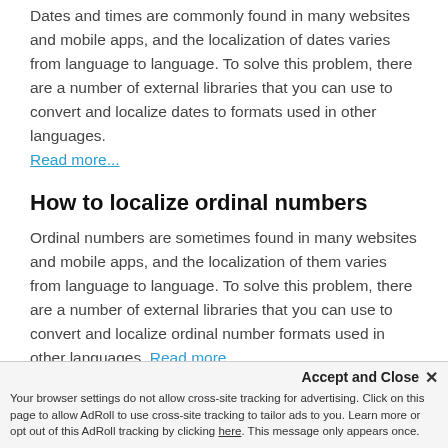Dates and times are commonly found in many websites and mobile apps, and the localization of dates varies from language to language. To solve this problem, there are a number of external libraries that you can use to convert and localize dates to formats used in other languages. Read more...
How to localize ordinal numbers
Ordinal numbers are sometimes found in many websites and mobile apps, and the localization of them varies from language to language. To solve this problem, there are a number of external libraries that you can use to convert and localize ordinal number formats used in other languages. Read more...
How to localize currency
Phrases which contain currency in them are... (partially visible)
Accept and Close ✕ Your browser settings do not allow cross-site tracking for advertising. Click on this page to allow AdRoll to use cross-site tracking to tailor ads to you. Learn more or opt out of this AdRoll tracking by clicking here. This message only appears once.